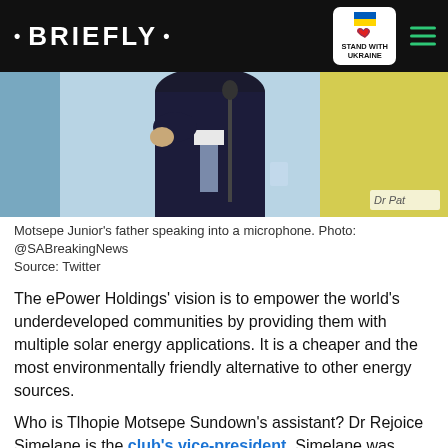• BRIEFLY •
[Figure (photo): Man in dark suit speaking into a microphone, holding a glass, with 'Dr Pat' label visible at bottom right. Blue and yellow background.]
Motsepe Junior's father speaking into a microphone. Photo: @SABreakingNews
Source: Twitter
The ePower Holdings' vision is to empower the world's underdeveloped communities by providing them with multiple solar energy applications. It is a cheaper and the most environmentally friendly alternative to other energy sources.
Who is Tlhopie Motsepe Sundown's assistant? Dr Rejoice Simelane is the club's vice-president. Simelane was Chloorkop's director and served in the PSL's executive committee when he was offered the new role in Mamelodi